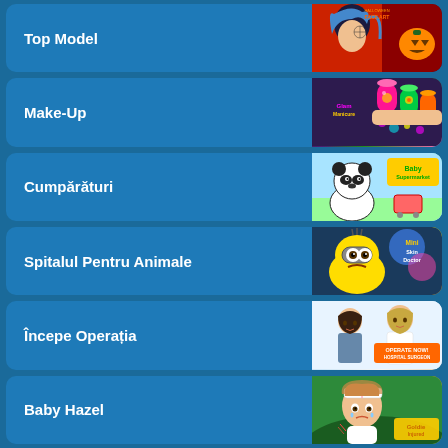Top Model
Make-Up
Cumpărături
Spitalul Pentru Animale
Începe Operația
Baby Hazel